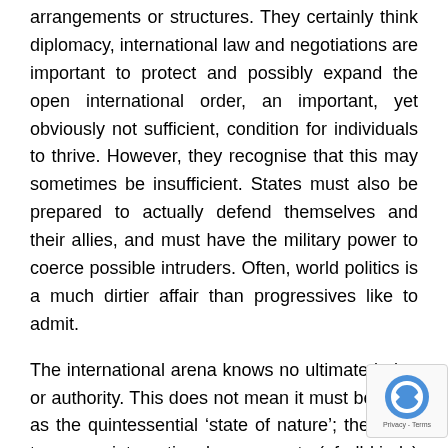arrangements or structures. They certainly think diplomacy, international law and negotiations are important to protect and possibly expand the open international order, an important, yet obviously not sufficient, condition for individuals to thrive. However, they recognise that this may sometimes be insufficient. States must also be prepared to actually defend themselves and their allies, and must have the military power to coerce possible intruders. Often, world politics is a much dirtier affair than progressives like to admit.
The international arena knows no ultimate judge or authority. This does not mean it must be seen as the quintessential ‘state of nature’; there are too many international agreements (of all kinds) and other strong bonds between states for that. But it does mean that nation states have to make arrangements for their security as a prime goal of their international policy. Here, one of the mechanisms in play is the balance of power. In academia, this